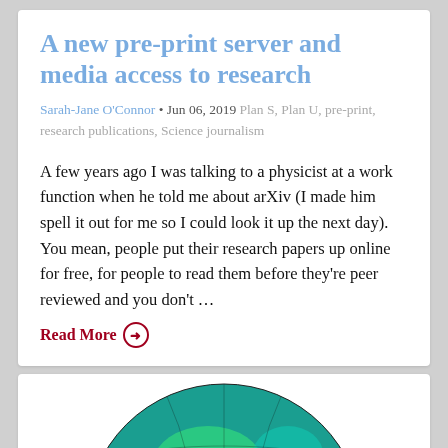A new pre-print server and media access to research
Sarah-Jane O'Connor • Jun 06, 2019 Plan S, Plan U, pre-print, research publications, Science journalism
A few years ago I was talking to a physicist at a work function when he told me about arXiv (I made him spell it out for me so I could look it up the next day). You mean, people put their research papers up online for free, for people to read them before they're peer reviewed and you don't …
Read More →
[Figure (illustration): Globe/Earth illustration showing green and teal color-coded data visualization on a sphere, viewed from above the northern hemisphere]